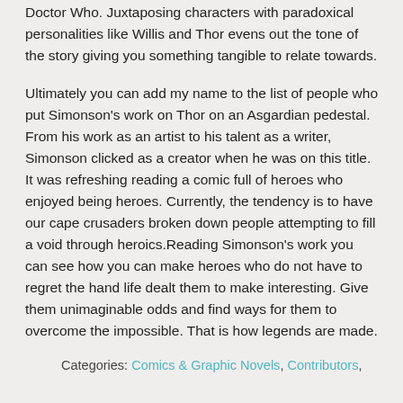Doctor Who. Juxtaposing characters with paradoxical personalities like Willis and Thor evens out the tone of the story giving you something tangible to relate towards.
Ultimately you can add my name to the list of people who put Simonson's work on Thor on an Asgardian pedestal. From his work as an artist to his talent as a writer, Simonson clicked as a creator when he was on this title. It was refreshing reading a comic full of heroes who enjoyed being heroes. Currently, the tendency is to have our cape crusaders broken down people attempting to fill a void through heroics.Reading Simonson's work you can see how you can make heroes who do not have to regret the hand life dealt them to make interesting. Give them unimaginable odds and find ways for them to overcome the impossible. That is how legends are made.
Categories: Comics & Graphic Novels, Contributors,